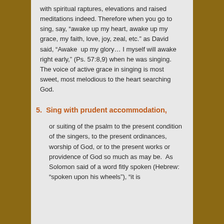with spiritual raptures, elevations and raised meditations indeed.  Therefore when you go to sing, say, “awake up my heart, awake up my grace, my faith, love, joy, zeal, etc.” as David said, “Awake  up my glory… I myself will awake right early,” (Ps. 57:8,9) when he was singing. The voice of active grace in singing is most sweet, most melodious to the heart searching God.
5.  Sing with prudent accommodation,
or suiting of the psalm to the present condition of the singers, to the present ordinances, worship of God, or to the present works or providence of God so much as may be.  As Solomon said of a word fitly spoken (Hebrew: “spoken upon his wheels”), “it is